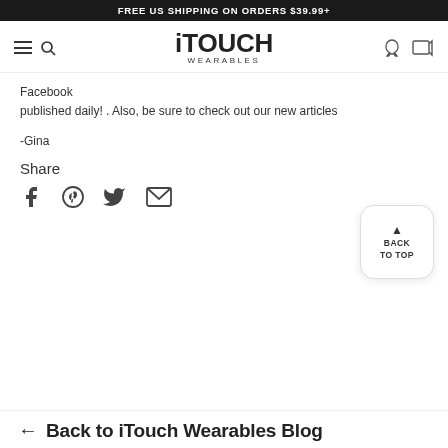FREE US SHIPPING ON ORDERS $39.99+
[Figure (logo): iTOUCH Wearables logo with hamburger menu, search, user, and cart icons in navigation bar]
Facebook published daily! . Also, be sure to check out our new articles
-Gina
Share
[Figure (illustration): Social share icons: Facebook, Pinterest, Twitter, Email]
← Back to iTouch Wearables Blog